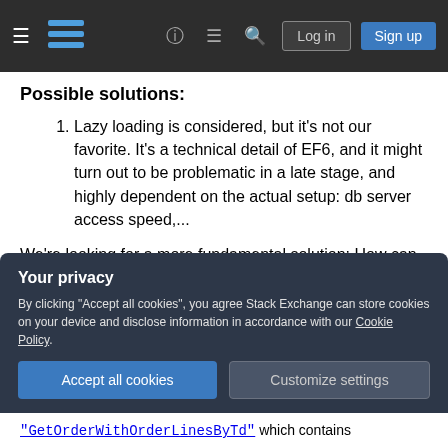Stack Exchange navigation header with login and sign up buttons
Possible solutions:
Lazy loading is considered, but it's not our favorite. It's a technical detail of EF6, and it might turn out to be problematic in a late stage, and highly dependent on the actual setup: db server access speed,...
We're looking for a more fundamental solution: How can we mitigate this dependency between the Domain and the Data Access layer?
Your privacy
By clicking "Accept all cookies", you agree Stack Exchange can store cookies on your device and disclose information in accordance with our Cookie Policy.
Accept all cookies  Customize settings
"GetOrderWithOrderLinesByTd" which contains